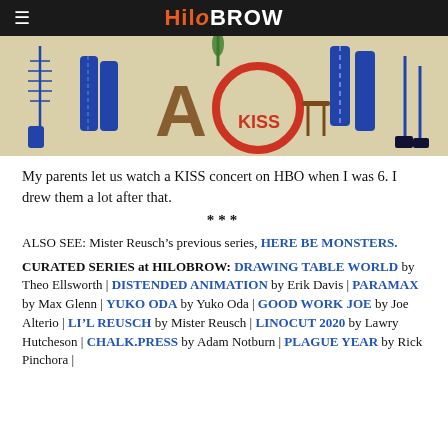HiloBrow
[Figure (illustration): Child's drawing of KISS band members rendered in marker/crayon on paper, showing stylized legs and letter-like figures spelling out characters with 'KISS' visible.]
My parents let us watch a KISS concert on HBO when I was 6. I drew them a lot after that.
***
ALSO SEE: Mister Reusch’s previous series, HERE BE MONSTERS.
CURATED SERIES at HILOBROW: DRAWING TABLE WORLD by Theo Ellsworth | DISTENDED ANIMATION by Erik Davis | PARAMAX by Max Glenn | YUKO ODA by Yuko Oda | GOOD WORK JOE by Joe Alterio | LI’L REUSCH by Mister Reusch | LINOCUT 2020 by Lawry Hutcheson | CHALK.PRESS by Adam Notburn | PLAGUE YEAR by Rick Pinchora |